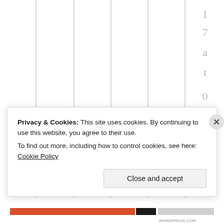[Figure (screenshot): Grid/table structure with vertical lines forming columns, upper portion of a web page with rotated timestamp text '17at04:17' on the right side and large roman numerals 'V' and 'i' visible in the content area]
V
i
Privacy & Cookies: This site uses cookies. By continuing to use this website, you agree to their use.
To find out more, including how to control cookies, see here: Cookie Policy
Close and accept